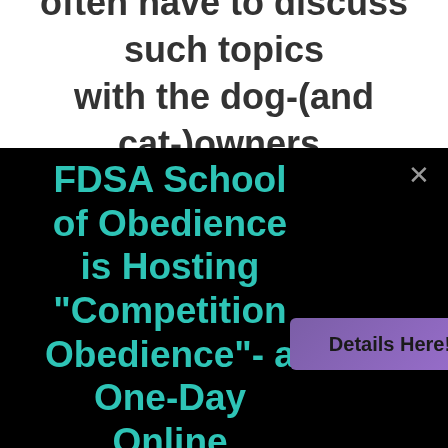often have to discuss such topics with the dog-(and cat-)owners.
FDSA School of Obedience is Hosting "Competition Obedience"- a One-Day Online Conference Sept 10, 2022!
Details Here!